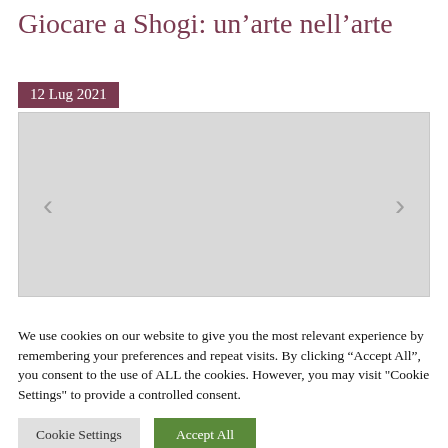Giocare a Shogi: un’arte nell’arte
12 Lug 2021
[Figure (photo): Slideshow image placeholder with left and right navigation arrows, grey background]
We use cookies on our website to give you the most relevant experience by remembering your preferences and repeat visits. By clicking “Accept All”, you consent to the use of ALL the cookies. However, you may visit "Cookie Settings" to provide a controlled consent.
Cookie Settings
Accept All